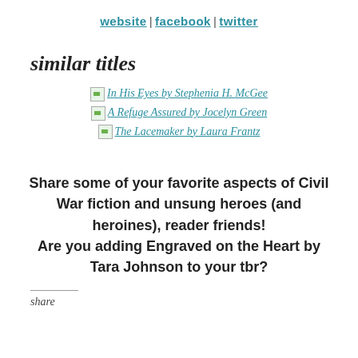website | facebook | twitter
similar titles
In His Eyes by Stephenia H. McGee
A Refuge Assured by Jocelyn Green
The Lacemaker by Laura Frantz
Share some of your favorite aspects of Civil War fiction and unsung heroes (and heroines), reader friends! Are you adding Engraved on the Heart by Tara Johnson to your tbr?
share